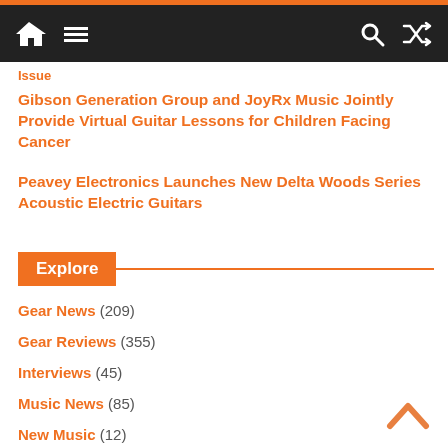Navigation bar with home, menu, search, and shuffle icons
Issue
Gibson Generation Group and JoyRx Music Jointly Provide Virtual Guitar Lessons for Children Facing Cancer
Peavey Electronics Launches New Delta Woods Series Acoustic Electric Guitars
Explore
Gear News (209)
Gear Reviews (355)
Interviews (45)
Music News (85)
New Music (12)
New Video (32)